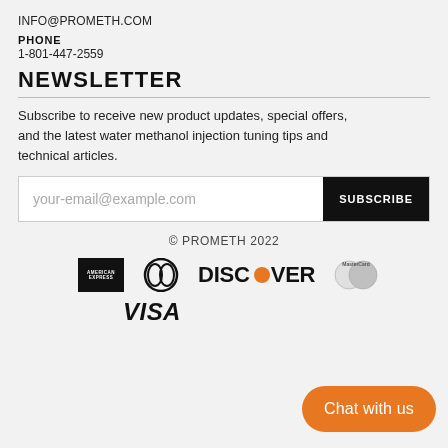INFO@PROMETH.COM
PHONE
1-801-447-2559
NEWSLETTER
Subscribe to receive new product updates, special offers, and the latest water methanol injection tuning tips and technical articles.
[Figure (screenshot): Email subscription form with placeholder text 'your-email@example.com' and a black SUBSCRIBE button]
© PROMETH 2022
[Figure (logo): Payment method logos: American Express, Diners Club, Discover, MasterCard, Visa]
[Figure (other): Orange rounded button with text 'Chat with us']